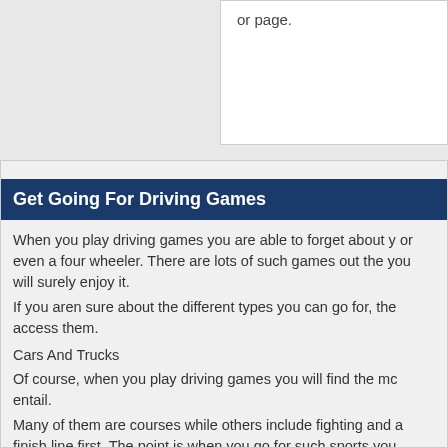or page.
Get Going For Driving Games
When you play driving games you are able to forget about y or even a four wheeler. There are lots of such games out the you will surely enjoy it.
If you aren sure about the different types you can go for, the access them.
Cars And Trucks
Of course, when you play driving games you will find the mc entail.
Many of them are courses while others include fighting and a finish line first. The point is when you go for such sports you
Motorcycles And Four Wheelers
If you are an outdoorsy sort of person and you really prefer wheeler games out there. Believe it or not, but when you